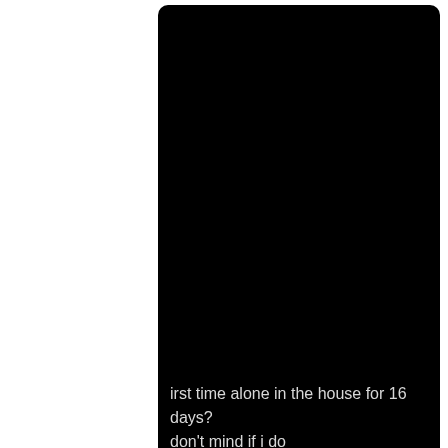[Figure (screenshot): Two stacked black rectangular panels (like a mobile story/video screenshot). The top panel is a tall black rectangle with white text near the bottom reading: 'irst time alone in the house for 16 days? don't mind if i do'. The bottom panel is a smaller black rectangle below it, appearing mostly dark.]
irst time alone in the house for 16 days? don't mind if i do